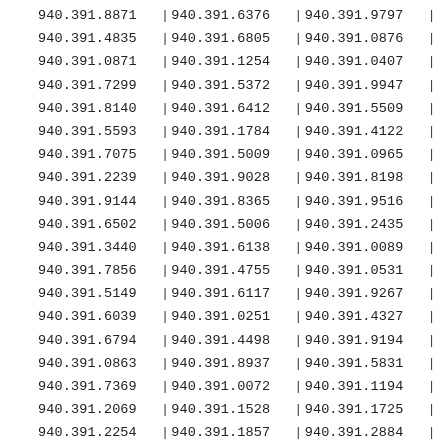| Col1 | Col2 | Col3 |
| --- | --- | --- |
| 940.391.8871 | 940.391.6376 | 940.391.9797 |
| 940.391.4835 | 940.391.6805 | 940.391.0876 |
| 940.391.0871 | 940.391.1254 | 940.391.0407 |
| 940.391.7299 | 940.391.5372 | 940.391.9947 |
| 940.391.8140 | 940.391.6412 | 940.391.5509 |
| 940.391.5593 | 940.391.1784 | 940.391.4122 |
| 940.391.7075 | 940.391.5009 | 940.391.0965 |
| 940.391.2239 | 940.391.9028 | 940.391.8198 |
| 940.391.9144 | 940.391.8365 | 940.391.9516 |
| 940.391.6502 | 940.391.5006 | 940.391.2435 |
| 940.391.3440 | 940.391.6138 | 940.391.0089 |
| 940.391.7856 | 940.391.4755 | 940.391.0531 |
| 940.391.5149 | 940.391.6117 | 940.391.9267 |
| 940.391.6039 | 940.391.0251 | 940.391.4327 |
| 940.391.6794 | 940.391.4498 | 940.391.9194 |
| 940.391.0863 | 940.391.8937 | 940.391.5831 |
| 940.391.7369 | 940.391.0072 | 940.391.1194 |
| 940.391.2069 | 940.391.1528 | 940.391.1725 |
| 940.391.2254 | 940.391.1857 | 940.391.2884 |